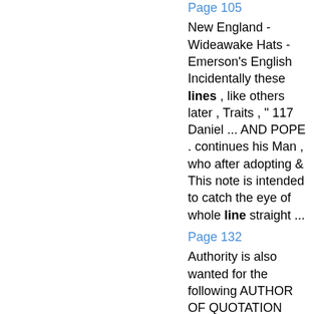Page 105
New England - Wideawake Hats - Emerson's English Incidentally these lines , like others later , Traits , " 117 Daniel ... AND POPE . continues his Man , who after adopting & This note is intended to catch the eye of whole line straight ...
Page 132
Authority is also wanted for the following AUTHOR OF QUOTATION WANTED.crest : Pitman of Wilts— " A dove rising Who wrote the lines :volant issuing out of a mural crown . And if there be no meeting beyond the grave , H. A.